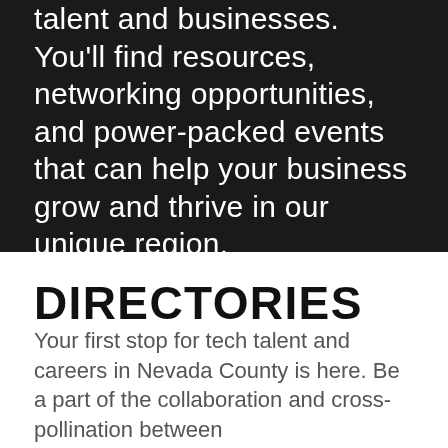talent and businesses. You'll find resources, networking opportunities, and power-packed events that can help your business grow and thrive in our unique region.
DIRECTORIES
Your first stop for tech talent and careers in Nevada County is here. Be a part of the collaboration and cross-pollination between